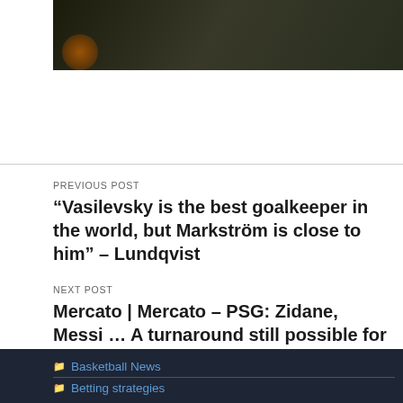[Figure (photo): Dark outdoor photo, likely a fire/nature scene at night]
PREVIOUS POST
“Vasilevsky is the best goalkeeper in the world, but Markström is close to him” – Lundqvist
NEXT POST
Mercato | Mercato – PSG: Zidane, Messi … A turnaround still possible for Mbappé?
Basketball News
Betting strategies
Mercato | Mercato – OM: Mourinho takes